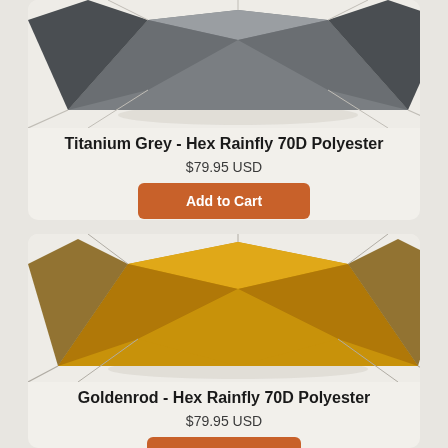[Figure (photo): Titanium grey hex rainfly tarp tent, viewed from side, dark grey color, set up with guy lines on light background]
Titanium Grey - Hex Rainfly 70D Polyester
$79.95 USD
Add to Cart
[Figure (photo): Goldenrod yellow hex rainfly tarp tent, viewed from side, golden yellow color, set up with guy lines on light background]
Goldenrod - Hex Rainfly 70D Polyester
$79.95 USD
Add to Cart